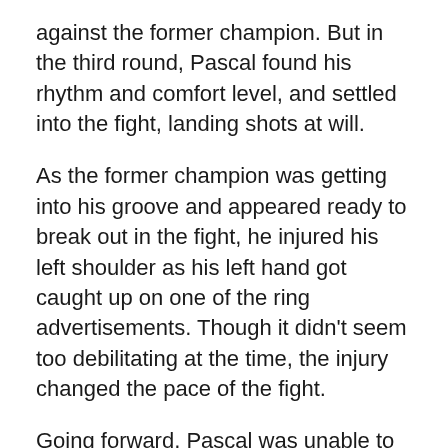against the former champion. But in the third round, Pascal found his rhythm and comfort level, and settled into the fight, landing shots at will.
As the former champion was getting into his groove and appeared ready to break out in the fight, he injured his left shoulder as his left hand got caught up on one of the ring advertisements. Though it didn't seem too debilitating at the time, the injury changed the pace of the fight.
Going forward, Pascal was unable to utilize his jab and left hook, leading to him fighting in the southpaw stance at times through each round.
Kuziemski recognized his opportunities against the one-armed fighter, and despite bringing all he had to the table, Pascal was able to strengthen his straight and overhand right to keep his opponent at bay.